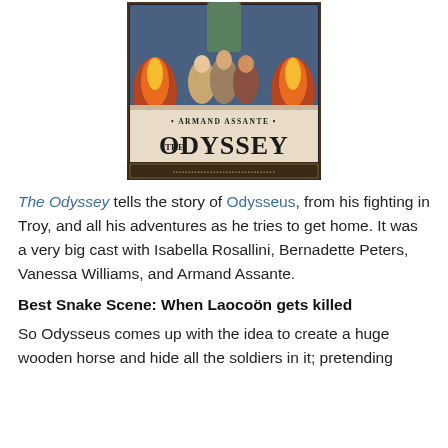[Figure (photo): Movie poster for 'The Odyssey' featuring Armand Assante. Shows figures including women in ancient Greek attire, flames, and large bold text reading '• ARMAND ASSANTE •' and 'THE ODYSSEY' with a decorative Greek key border pattern at the bottom.]
The Odyssey tells the story of Odysseus, from his fighting in Troy, and all his adventures as he tries to get home. It was a very big cast with Isabella Rosallini, Bernadette Peters, Vanessa Williams, and Armand Assante.
Best Snake Scene: When Laocoön gets killed
So Odysseus comes up with the idea to create a huge wooden horse and hide all the soldiers in it; pretending